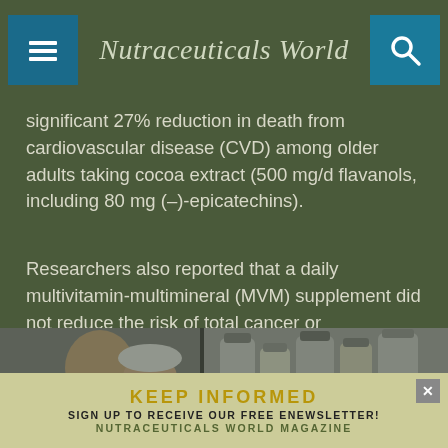Nutraceuticals World
significant 27% reduction in death from cardiovascular disease (CVD) among older adults taking cocoa extract (500 mg/d flavanols, including 80 mg (–)-epicatechins).
Researchers also reported that a daily multivitamin-multimineral (MVM) supplement did not reduce the risk of total cancer or cardiovascular disease among generally healthy older men and women. Results for both studies were published in the American Journal of Clinical Nutrition in March (Sesso et al., 2022).
[Figure (photo): Collage of images showing people and supplement bottles, with an advertisement banner reading KEEP INFORMED - SIGN UP TO RECEIVE OUR FREE ENEWSLETTER! NUTRACEUTICALS WORLD MAGAZINE]